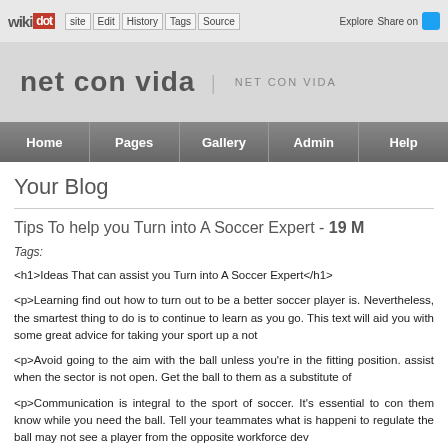wikidot | Edit | History | Tags | Source | Explore | Share on Twitter
net con vida | NET CON VIDA
Home | Pages | Gallery | Admin | Help
Your Blog
Tips To help you Turn into A Soccer Expert - 19 M
Tags:
<h1>Ideas That can assist you Turn into A Soccer Expert</h1>
<p>Learning find out how to turn out to be a better soccer player is. Nevertheless, the smartest thing to do is to continue to learn as you go. This text will aid you with some great advice for taking your sport up a not
<p>Avoid going to the aim with the ball unless you're in the fitting position. assist when the sector is not open. Get the ball to them as a substitute of
<p>Communication is integral to the sport of soccer. It's essential to con them know while you need the ball. Tell your teammates what is happeni to regulate the ball may not see a player from the opposite workforce dev